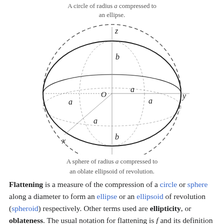A circle of radius a compressed to an ellipse.
[Figure (illustration): An oblate spheroid (flattened ellipsoid) shown with three semi-axes labeled a (equatorial, three directions) and b (polar), with coordinate axes x, y, z, center O, and a dashed circle of radius a surrounding it representing the original sphere.]
A sphere of radius a compressed to an oblate ellipsoid of revolution.
Flattening is a measure of the compression of a circle or sphere along a diameter to form an ellipse or an ellipsoid of revolution (spheroid) respectively. Other terms used are ellipticity, or oblateness. The usual notation for flattening is f and its definition in terms of the semi-axes of the resulting ellipse or ellipsoid is